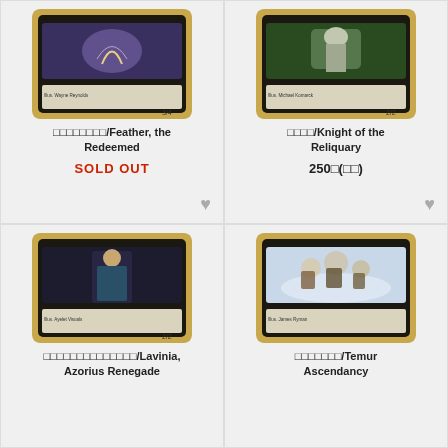[Figure (illustration): Magic: The Gathering card - Feather, the Redeemed (Japanese edition), 3/4 stats, dark fantasy art]
羽ばたき鬼/Feather, the Redeemed
SOLD OUT
[Figure (illustration): Magic: The Gathering card - Knight of the Reliquary (Japanese edition), 2/2 stats]
聖遺の騎士/Knight of the Reliquary
250円(税込)
[Figure (illustration): Magic: The Gathering card - Lavinia, Azorius Renegade (Japanese edition), 2/2 stats, dark figure art]
アゾリウスの反逆者、ラヴィニア/Lavinia, Azorius Renegade
[Figure (illustration): Magic: The Gathering card - Temur Ascendancy (Japanese edition), cavalry in snow art]
ティムールの隆盛/Temur Ascendancy